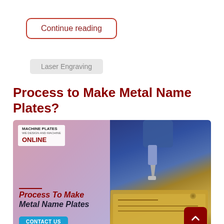Continue reading
Laser Engraving
Process to Make Metal Name Plates?
[Figure (photo): Promotional image for Machine Plates Online showing a metal engraving machine on the right and text overlay on the left reading 'Process To Make Metal Name Plates' with a Contact Us button and company logo.]